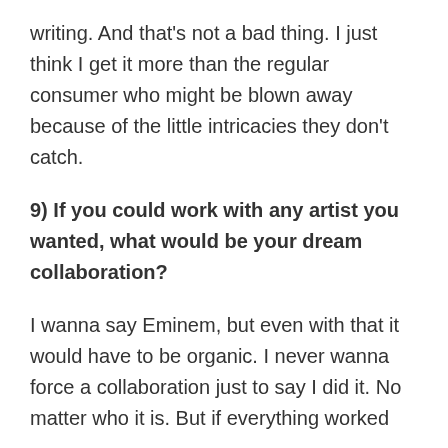writing. And that's not a bad thing. I just think I get it more than the regular consumer who might be blown away because of the little intricacies they don't catch.
9) If you could work with any artist you wanted, what would be your dream collaboration?
I wanna say Eminem, but even with that it would have to be organic. I never wanna force a collaboration just to say I did it. No matter who it is. But if everything worked out, for that to come about, definitely...